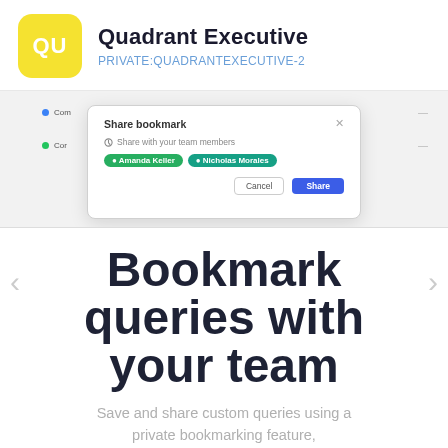Quadrant Executive
PRIVATE:QUADRANTEXECUTIVE-2
[Figure (screenshot): Screenshot of a 'Share bookmark' modal dialog with team member tags 'Amanda Keller' and 'Nicholas Morales', Cancel and Share buttons, overlaid on a list view with Facebook and other list entries.]
Bookmark queries with your team
Save and share custom queries using a private bookmarking feature, accessible to your whole team